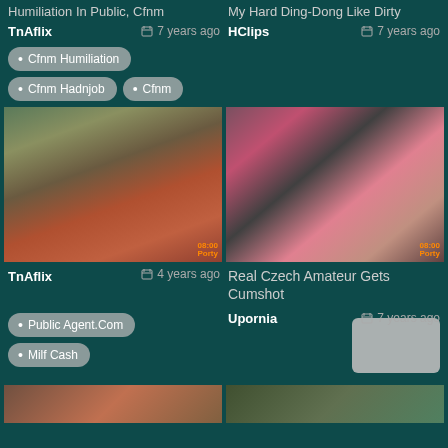Humiliation In Public, Cfnm
My Hard Ding-Dong Like Dirty
TnAflix  7 years ago
HClips  7 years ago
Cfnm Humiliation
Cfnm Hadnjob
Cfnm
[Figure (photo): Video thumbnail showing woman in red jacket outdoors]
[Figure (photo): Video thumbnail showing person in black lingerie]
TnAflix  4 years ago
Real Czech Amateur Gets Cumshot
Upornia  7 years ago
Public Agent.Com
Milf Cash
[Figure (photo): Partial video thumbnails at bottom of page]